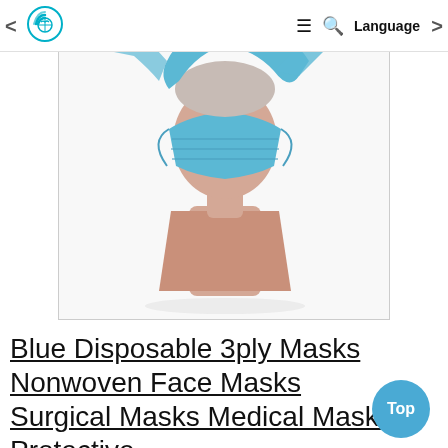< [logo] ≡ Q Language >
[Figure (photo): A mannequin head wearing a blue disposable surgical face mask, viewed from the front against a white background.]
Blue Disposable 3ply Masks Nonwoven Face Masks Surgical Masks Medical Masks Protective